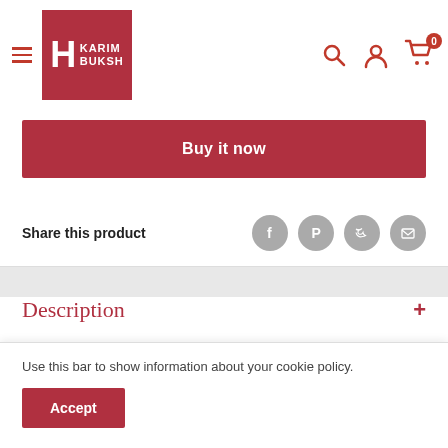[Figure (logo): H Karim Buksh logo — red square with white H and KARIM BUKSH text]
Buy it now
Share this product
[Figure (infographic): Social share icons: Facebook, Pinterest, Twitter, Email — gray circles with white icons]
Description
Use this bar to show information about your cookie policy.
Accept